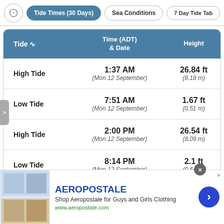Tide Times (30 Days) | Sea Conditions | 7 Day Tide Tab
| Tide | Time (ADT) & Date | Height |
| --- | --- | --- |
| High Tide | 1:37 AM
(Mon 12 September) | 26.84 ft
(8.18 m) |
| Low Tide | 7:51 AM
(Mon 12 September) | 1.67 ft
(0.51 m) |
| High Tide | 2:00 PM
(Mon 12 September) | 26.54 ft
(8.09 m) |
| Low Tide | 8:14 PM
(Mon 12 September) | 2.1 ft
(0.64 m) |
[Figure (other): Advertisement banner for Aeropostale showing clothing images, brand name, tagline 'Shop Aeropostale for Guys and Girls Clothing', and URL www.aeropostale.com]